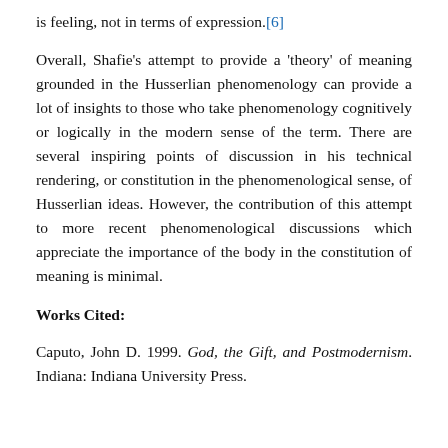is feeling, not in terms of expression.[6]
Overall, Shafie's attempt to provide a 'theory' of meaning grounded in the Husserlian phenomenology can provide a lot of insights to those who take phenomenology cognitively or logically in the modern sense of the term. There are several inspiring points of discussion in his technical rendering, or constitution in the phenomenological sense, of Husserlian ideas. However, the contribution of this attempt to more recent phenomenological discussions which appreciate the importance of the body in the constitution of meaning is minimal.
Works Cited:
Caputo, John D. 1999. God, the Gift, and Postmodernism. Indiana: Indiana University Press.